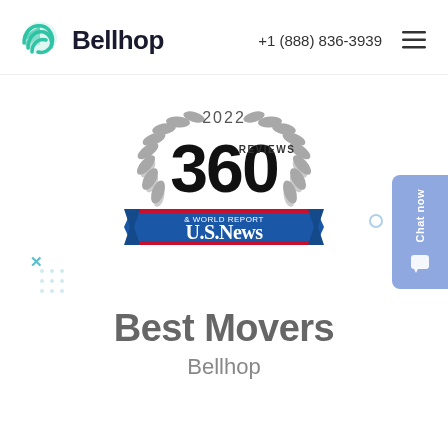Bellhop   +1 (888) 836-3939
[Figure (logo): Bellhop green logo icon with stylized bell/wing shape]
[Figure (illustration): 2022 US News & World Report 360 Reviews award badge with laurel wreath, blue ribbon banner reading US News & World Report, and '360 REVIEWS' text centered]
Best Movers
Bellhop